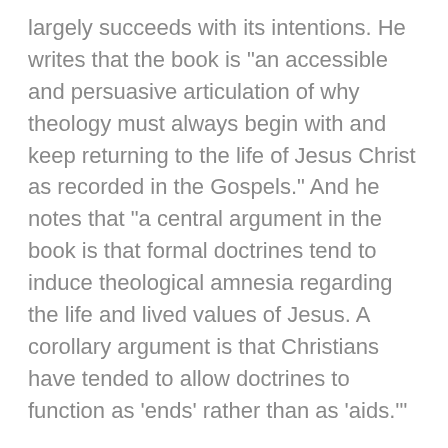largely succeeds with its intentions. He writes that the book is "an accessible and persuasive articulation of why theology must always begin with and keep returning to the life of Jesus Christ as recorded in the Gospels." And he notes that "a central argument in the book is that formal doctrines tend to induce theological amnesia regarding the life and lived values of Jesus. A corollary argument is that Christians have tended to allow doctrines to function as 'ends' rather than as 'aids.'"
I am glad Kaethler presents the book's argument in this way. I am not rejecting doctrines (as the book itself is about each of the traditional Christian doctrines) but challenging Christians to see the doctrines as servants to faithful living.